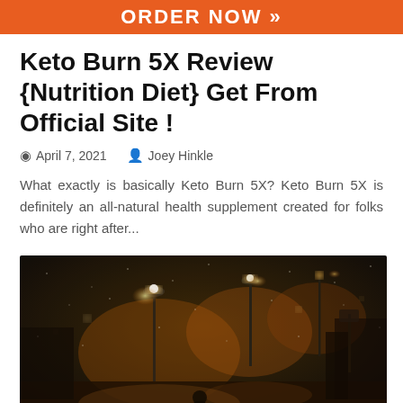[Figure (other): Orange banner with ORDER NOW text and arrows]
Keto Burn 5X Review {Nutrition Diet} Get From Official Site !
April 7, 2021   Joey Hinkle
What exactly is basically Keto Burn 5X? Keto Burn 5X is definitely an all-natural health supplement created for folks who are right after...
[Figure (photo): Nighttime street scene with yellow street lights, rain or snow, blurry urban environment with a person in the foreground]